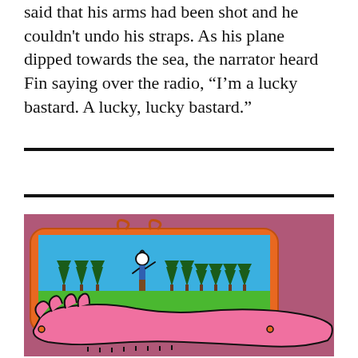said that his arms had been shot and he couldn't undo his straps. As his plane dipped towards the sea, the narrator heard Fin saying over the radio, “I’m a lucky bastard. A lucky, lucky bastard.”
[Figure (illustration): A colorful cartoon illustration on a mauve/pink background. Inside an orange-bordered frame with a decorative curl at the top, a scene shows a stick-figure-like character standing on green grass surrounded by dark green stylized trees against a blue sky. Below the framed scene, a large pink hand/arm extends from the right side, with stitching marks along the bottom edge. The overall image has a playful, storybook aesthetic.]